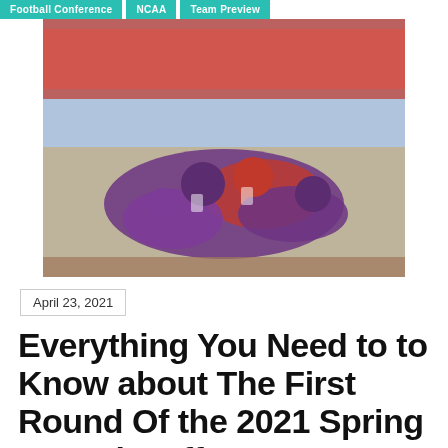Football Conference | NCAA | Team Preview
[Figure (photo): Football players in purple and red uniforms in a tackle/pile-up on a football field with a crowd in the background]
April 23, 2021
Everything You Need to to Know about The First Round Of the 2021 Spring FCS Playoffs Tomorrow: Streaming Info,